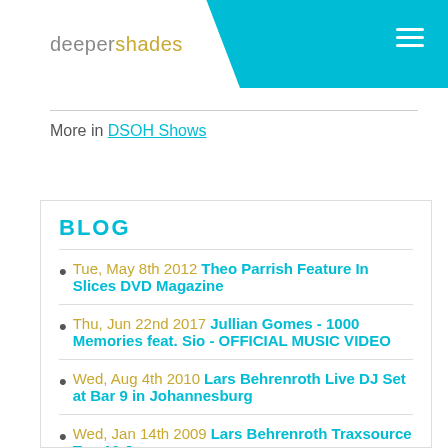deepershades
More in DSOH Shows
BLOG
Tue, May 8th 2012 Theo Parrish Feature In Slices DVD Magazine
Thu, Jun 22nd 2017 Jullian Gomes - 1000 Memories feat. Sio - OFFICIAL MUSIC VIDEO
Wed, Aug 4th 2010 Lars Behrenroth Live DJ Set at Bar 9 in Johannesburg
Wed, Jan 14th 2009 Lars Behrenroth Traxsource Top 10 January
Tue, Sep 20th 2011 Cuebur feat Nathan X - Walk A Mile (Ultra Tone In Too Deep Remix...